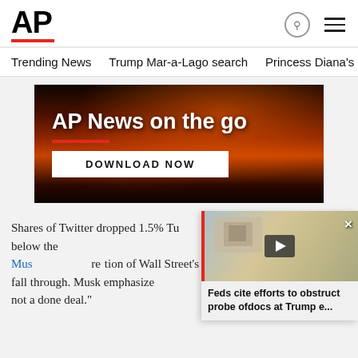AP
Trending News  Trump Mar-a-Lago search  Princess Diana's dea
[Figure (infographic): AP News on the go advertisement banner with wildfire background, red underline, and DOWNLOAD NOW button]
Shares of Twitter dropped 1.5% Tu... share. That's 13 percent below the ... — or $44 billion — that Mus... reflection of Wall Street's concern... still fall through. Musk emphasized... "certainly not a done deal."
[Figure (screenshot): Video overlay showing 'Feds cite efforts to obstruct probe ofdocs at Trump e...' with thumbnail image and play button]